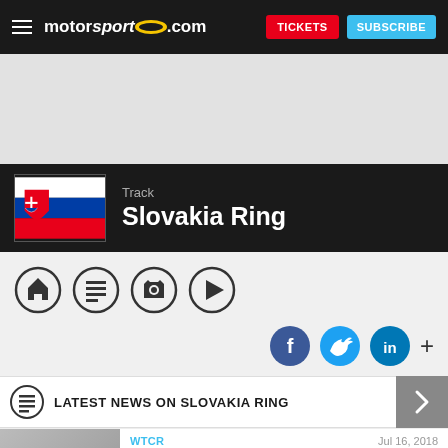motorsport.com | TICKETS | SUBSCRIBE
[Figure (screenshot): Advertisement / grey placeholder space]
Track
Slovakia Ring
[Figure (infographic): Navigation icon bar with home, news, camera, play icons]
[Figure (infographic): Social sharing buttons: Facebook, Twitter, LinkedIn, plus]
LATEST NEWS ON SLOVAKIA RING
[Figure (photo): Article thumbnail: Slovakia Ring circuit photo with Slovakia flag banner]
WTCR   Jul 16, 2018
Huff urges BoP fixes after "terrible"